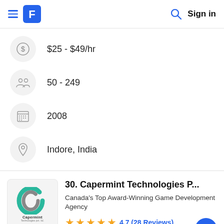Sign in
$25 - $49/hr
50 - 249
2008
Indore, India
30. Capermint Technologies P...
Canada's Top Award-Winning Game Development Agency
4.7 (28 Reviews)